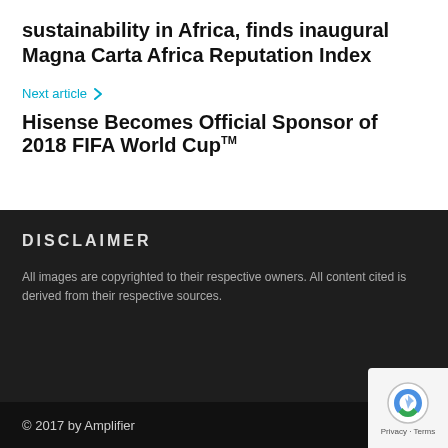sustainability in Africa, finds inaugural Magna Carta Africa Reputation Index
Next article
Hisense Becomes Official Sponsor of 2018 FIFA World CupTM
DISCLAIMER
All images are copyrighted to their respective owners. All content cited is derived from their respective sources.
© 2017 by Amplifier